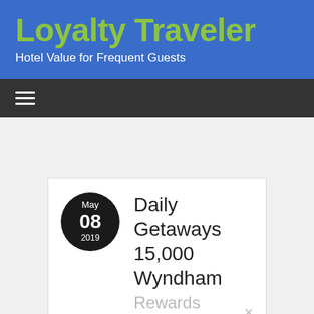Loyalty Traveler
Hotel Value for Frequent Guests
Daily Getaways 15,000 Wyndham Rewards points